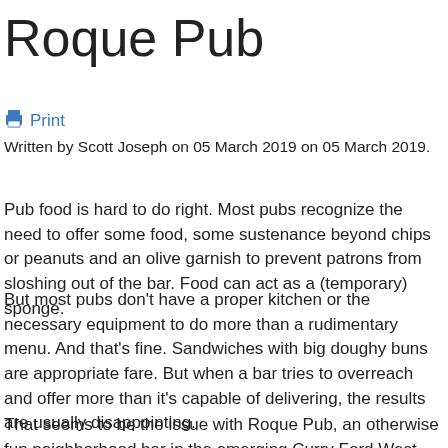Roque Pub
🖨 Print
Written by Scott Joseph on 05 March 2019 on 05 March 2019.
Pub food is hard to do right. Most pubs recognize the need to offer some food, some sustenance beyond chips or peanuts and an olive garnish to prevent patrons from sloshing out of the bar. Food can act as a (temporary) sponge.
But most pubs don't have a proper kitchen or the necessary equipment to do more than a rudimentary menu. And that's fine. Sandwiches with big doughy buns are appropriate fare. But when a bar tries to overreach and offer more than it's capable of delivering, the results are usually disappointing.
That seems to be the issue with Roque Pub, an otherwise fun neighborhood bar in the emerging Curry Ford West district.